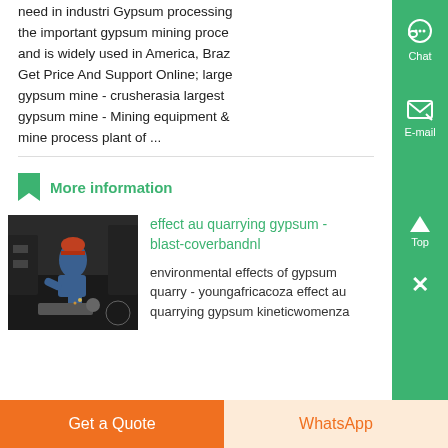need in industri Gypsum processing the important gypsum mining proce and is widely used in America, Braz Get Price And Support Online; large gypsum mine - crusherasia largest gypsum mine - Mining equipment & mine process plant of ...
More information
[Figure (photo): Worker in hard hat and blue jumpsuit working in an industrial setting, bending over equipment in a dark factory or mine environment.]
effect au quarrying gypsum - blast-coverbandnl
environmental effects of gypsum quarry - youngafricacoza effect au quarrying gypsum kineticwomenza